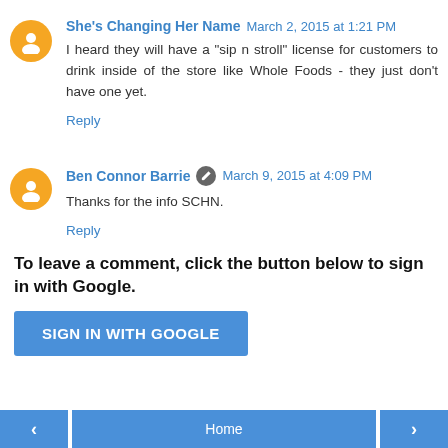She's Changing Her Name  March 2, 2015 at 1:21 PM
I heard they will have a "sip n stroll" license for customers to drink inside of the store like Whole Foods - they just don't have one yet.
Reply
Ben Connor Barrie  March 9, 2015 at 4:09 PM
Thanks for the info SCHN.
Reply
To leave a comment, click the button below to sign in with Google.
SIGN IN WITH GOOGLE
‹  Home  ›